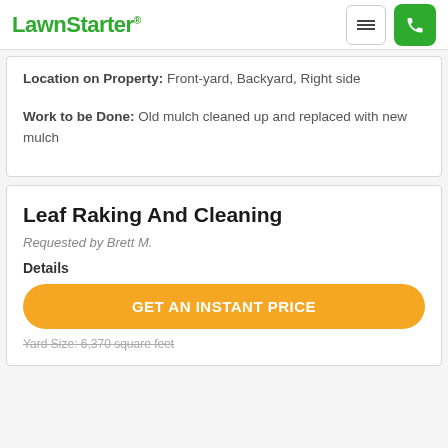LawnStarter®
Location on Property: Front-yard, Backyard, Right side
Work to be Done: Old mulch cleaned up and replaced with new mulch
Leaf Raking And Cleaning
Requested by Brett M.
Details
GET AN INSTANT PRICE
Yard Size: 6,370 square feet